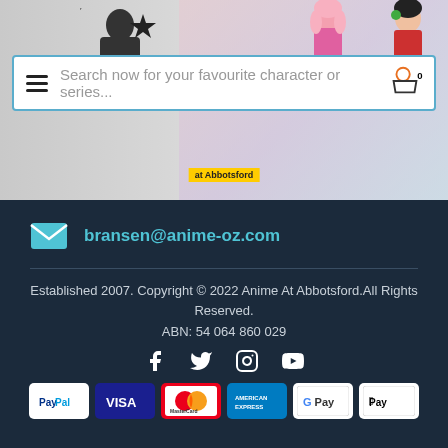[Figure (screenshot): Website header with anime character banner images and search bar with hamburger menu and cart icon]
Search now for your favourite character or series...
bransen@anime-oz.com
Established 2007. Copyright © 2022 Anime At Abbotsford.All Rights Reserved.
ABN: 54 064 860 029
[Figure (infographic): Social media icons: Facebook, Twitter, Instagram, YouTube]
[Figure (infographic): Payment method logos: PayPal, Visa, MasterCard, American Express, Google Pay, Apple Pay]